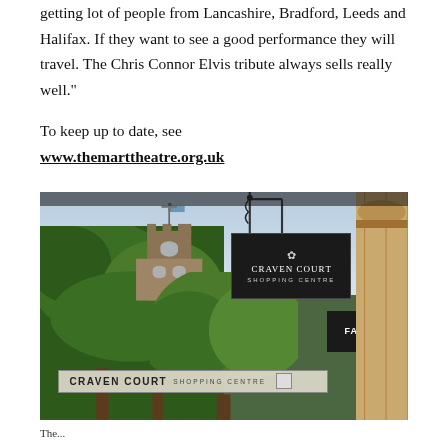getting lot of people from Lancashire, Bradford, Leeds and Halifax. If they want to see a good performance they will travel. The Chris Connor Elvis tribute always sells really well.”
To keep up to date, see
www.themarttheatre.org.uk
[Figure (photo): Street-level photo showing Craven Court Shopping Centre signage in Skipton, with a church tower visible through trees in the background and a stone pillar of a historic building on the right. A large black hanging sign reads 'CRAVEN COURT SHOPPING CENTRE' and a lower sign banner also reads 'CRAVEN COURT SHOPPING CENTRE'. A FatFace store sign is partially visible on the right.]
The...